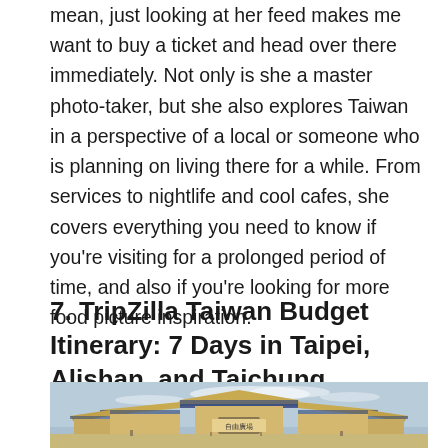mean, just looking at her feed makes me want to buy a ticket and head over there immediately. Not only is she a master photo-taker, but she also explores Taiwan in a perspective of a local or someone who is planning on living there for a while. From services to nightlife and cool cafes, she covers everything you need to know if you're visiting for a prolonged period of time, and also if you're looking for more food picture inspiration.
7. TripZilla Taiwan Budget Itinerary: 7 Days in Taipei, Alishan, and Taichung
[Figure (photo): A traditional Taiwanese/Chinese style gate or temple roof structure with ornate curved eaves and blue-tiled rooftops against a cloudy sky. Chinese characters visible on the structure reading 自由廣場 (Liberty Square).]